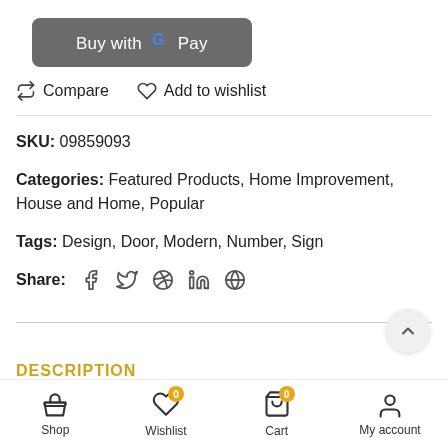[Figure (screenshot): Buy with Google Pay button - dark gray rounded rectangle with white text and Google G logo]
⇄ Compare   ♡ Add to wishlist
SKU: 09859093
Categories: Featured Products, Home Improvement, House and Home, Popular
Tags: Design, Door, Modern, Number, Sign
Share: (social icons: facebook, twitter, pinterest, linkedin, telegram)
DESCRIPTION
Shop   Wishlist 0   Cart 0   My account